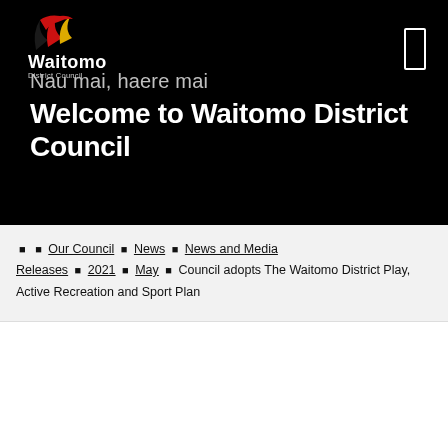[Figure (logo): Waitomo District Council logo with flame/feather motif in red, yellow, black above 'Waitomo' text and 'District Council' subtext, on black background]
Nau mai, haere mai
Welcome to Waitomo District Council
Home > Our Council > News > News and Media Releases > 2021 > May > Council adopts The Waitomo District Play, Active Recreation and Sport Plan